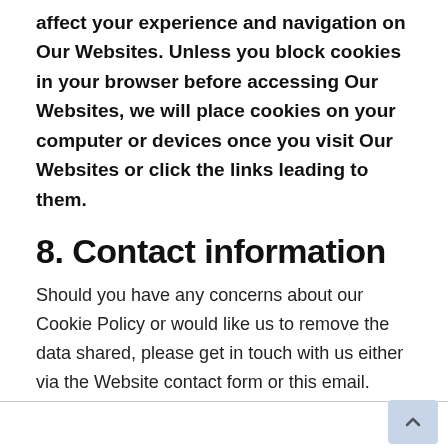affect your experience and navigation on Our Websites. Unless you block cookies in your browser before accessing Our Websites, we will place cookies on your computer or devices once you visit Our Websites or click the links leading to them.
8. Contact information
Should you have any concerns about our Cookie Policy or would like us to remove the data shared, please get in touch with us either via the Website contact form or this email.